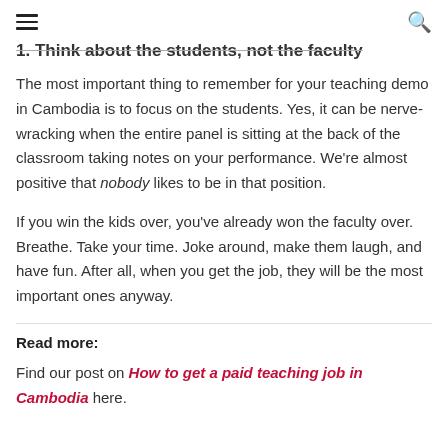≡  🔍
1. Think about the students, not the faculty
The most important thing to remember for your teaching demo in Cambodia is to focus on the students. Yes, it can be nerve-wracking when the entire panel is sitting at the back of the classroom taking notes on your performance. We're almost positive that nobody likes to be in that position.
If you win the kids over, you've already won the faculty over. Breathe. Take your time. Joke around, make them laugh, and have fun. After all, when you get the job, they will be the most important ones anyway.
Read more:
Find our post on How to get a paid teaching job in Cambodia here.